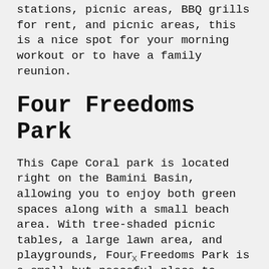An 8+ mile walking paths complete with fitness stations, picnic areas, BBQ grills for rent, and picnic areas, this is a nice spot for your morning workout or to have a family reunion.
Four Freedoms Park
This Cape Coral park is located right on the Bamini Basin, allowing you to enjoy both green spaces along with a small beach area. With tree-shaded picnic tables, a large lawn area, and playgrounds, Four Freedoms Park is a small but peaceful place to escape the hustle and bustle of life.
x